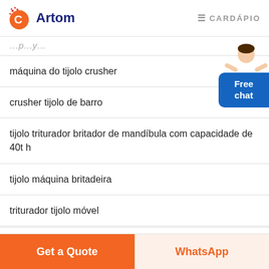Artom  CARDÁPIO
máquina do tijolo crusher
crusher tijolo de barro
tijolo triturador britador de mandíbula com capacidade de 40t h
tijolo máquina britadeira
triturador tijolo móvel
[Figure (illustration): Customer service agent illustration with Free chat button]
Get a Quote
WhatsApp